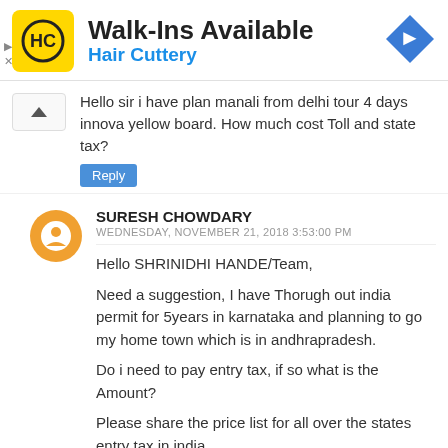[Figure (logo): Hair Cuttery advertisement banner with HC logo, Walk-Ins Available heading, and navigation arrow icon]
Hello sir i have plan manali from delhi tour 4 days innova yellow board. How much cost Toll and state tax?
Reply
SURESH CHOWDARY
WEDNESDAY, NOVEMBER 21, 2018 3:53:00 PM
Hello SHRINIDHI HANDE/Team,
Need a suggestion, I have Thorugh out india permit for 5years in karnataka and planning to go my home town which is in andhrapradesh.
Do i need to pay entry tax, if so what is the Amount?
Please share the price list for all over the states entry tax in india.